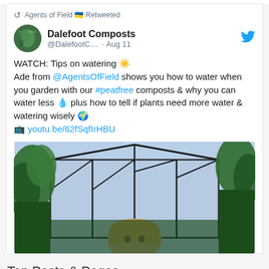[Figure (screenshot): Tweet card from Dalefoot Composts retweeted by Agents of Field, containing text about watering tips video with a greenhouse image below]
Top Posts & Pages
Blackberry Syrup: A Natural Cold Remedy